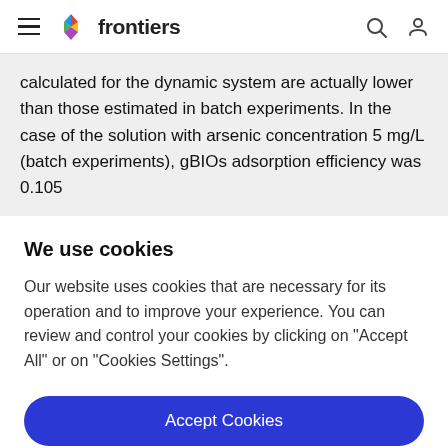frontiers
calculated for the dynamic system are actually lower than those estimated in batch experiments. In the case of the solution with arsenic concentration 5 mg/L (batch experiments), gBIOs adsorption efficiency was 0.105
We use cookies
Our website uses cookies that are necessary for its operation and to improve your experience. You can review and control your cookies by clicking on "Accept All" or on "Cookies Settings".
Accept Cookies
Cookies Settings